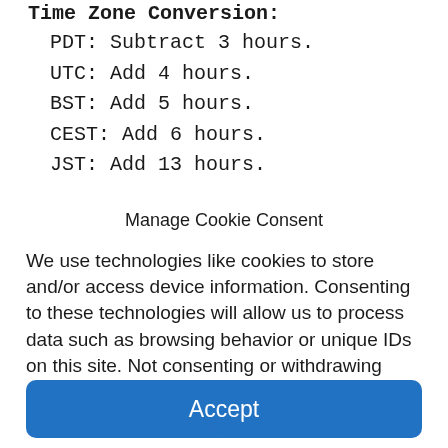Time Zone Conversion:
PDT: Subtract 3 hours.
UTC: Add 4 hours.
BST: Add 5 hours.
CEST: Add 6 hours.
JST: Add 13 hours.
Manage Cookie Consent
We use technologies like cookies to store and/or access device information. Consenting to these technologies will allow us to process data such as browsing behavior or unique IDs on this site. Not consenting or withdrawing consent, may adversely affect certain features and functions.
Accept
Cookie Policy